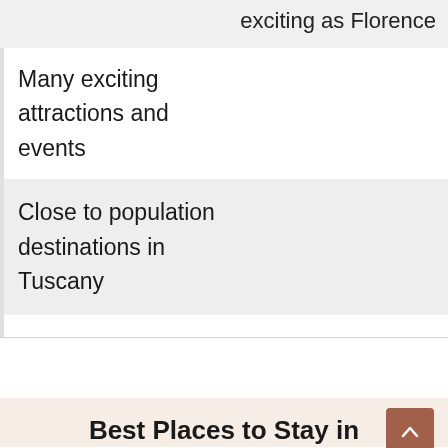exciting as Florence
Many exciting attractions and events
Close to population destinations in Tuscany
Best Places to Stay in